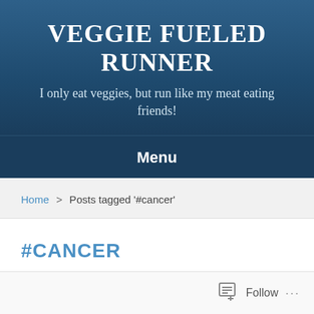VEGGIE FUELED RUNNER
I only eat veggies, but run like my meat eating friends!
Menu
Home > Posts tagged '#cancer'
#CANCER
Follow ...